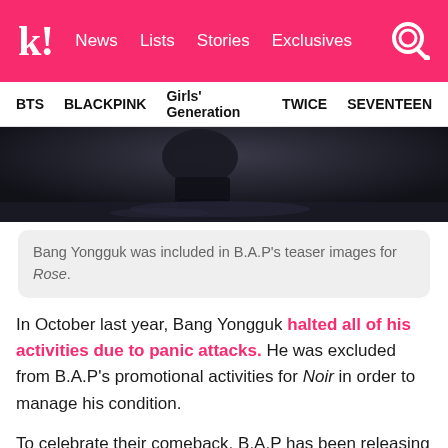k! News Lists Stories Exclusives
BTS BLACKPINK Girls' Generation TWICE SEVENTEEN
[Figure (photo): Dark moody image showing feet/boots on a wet dark surface, part of B.A.P's teaser images for Rose.]
Bang Yongguk was included in B.A.P's teaser images for Rose.
In October last year, Bang Yongguk halted all of his activities due to panic attacks. He was excluded from B.A.P's promotional activities for Noir in order to manage his condition.
To celebrate their comeback, B.A.P has been releasing individual teaser images from February 20-22 and followed by their group